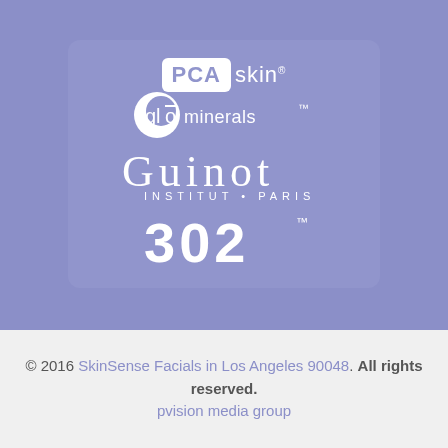[Figure (logo): PCA skin logo - white rounded rectangle with 'PCA' text followed by 'skin' with registered trademark symbol, all in white on purple/lavender background]
[Figure (logo): glōminerals logo - white circle with purple circle inside, followed by 'glō' and 'minerals' text with trademark symbol, all in white]
[Figure (logo): Guinot Institut Paris logo in white serif font with 'GUINOT' large text and 'INSTITUT • PARIS' smaller text below]
[Figure (logo): 302 logo in large white bold stylized numerals with trademark symbol]
© 2016 SkinSense Facials in Los Angeles 90048. All rights reserved. pvision media group